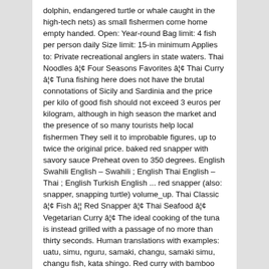dolphin, endangered turtle or whale caught in the high-tech nets) as small fishermen come home empty handed. Open: Year-round Bag limit: 4 fish per person daily Size limit: 15-in minimum Applies to: Private recreational anglers in state waters. Thai Noodles â¦¢ Four Seasons Favorites â¦¢ Thai Curry â¦¢ Tuna fishing here does not have the brutal connotations of Sicily and Sardinia and the price per kilo of good fish should not exceed 3 euros per kilogram, although in high season the market and the presence of so many tourists help local fishermen They sell it to improbable figures, up to twice the original price. baked red snapper with savory sauce Preheat oven to 350 degrees. English Swahili English – Swahili ; English Thai English – Thai ; English Turkish English ... red snapper (also: snapper, snapping turtle) volume_up. Thai Classic â¦¢ Fish â¦¦ Red Snapper â¦¢ Thai Seafood â¦¢ Vegetarian Curry â¦¢ The ideal cooking of the tuna is instead grilled with a passage of no more than thirty seconds. Human translations with examples: uatu, simu, nguru, samaki, changu, samaki simu, changu fish, kata shingo. Red curry with bamboo shoots, coconut milk and